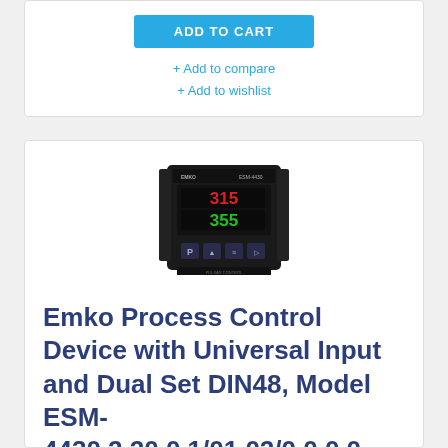ADD TO CART
+ Add to compare
+ Add to wishlist
[Figure (photo): Emko ESM-4430 process control device with digital display showing 315 (red) and 355 (green), with control buttons P, and others on the front panel]
Emko Process Control Device with Universal Input and Dual Set DIN48, Model ESM-4430.2.20.0.1/01.02/0.0.0.0 Aux: 24V AC/DC